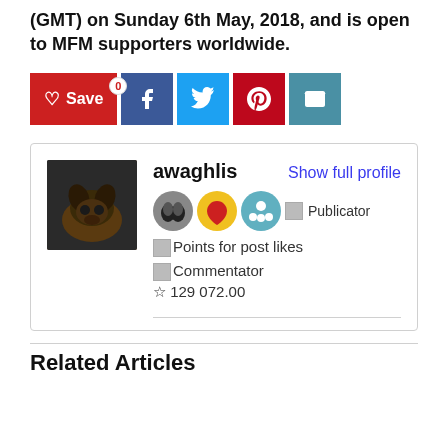(GMT) on Sunday 6th May, 2018, and is open to MFM supporters worldwide.
[Figure (infographic): Social share buttons: Save (with heart icon and 0 badge), Facebook, Twitter, Pinterest, Email]
[Figure (infographic): Profile card for user 'awaghlis' with avatar image of a dog/bat-like animal, badges (gray butterfly, gold heart, blue people, Publicator text), Points for post likes, Commentator badge, star rating 129 072.00, and 'Show full profile' link]
Related Articles